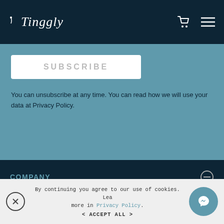Tinggly
[Figure (screenshot): Subscribe button bar (white rectangle with 'SUBSCRIBE' text)]
You can unsubscribe at any time. You can read how we will use your data at Privacy Policy.
COMPANY
Our Team
Contact us
Corporate
Sustainability
Be an ambassador
Affiliate
By continuing you agree to our use of cookies. Learn more in Privacy Policy.
< ACCEPT ALL >